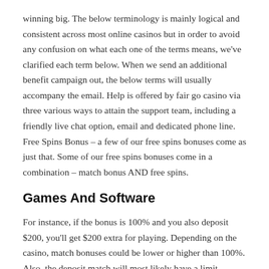winning big. The below terminology is mainly logical and consistent across most online casinos but in order to avoid any confusion on what each one of the terms means, we've clarified each term below. When we send an additional benefit campaign out, the below terms will usually accompany the email. Help is offered by fair go casino via three various ways to attain the support team, including a friendly live chat option, email and dedicated phone line. Free Spins Bonus – a few of our free spins bonuses come as just that. Some of our free spins bonuses come in a combination – match bonus AND free spins.
Games And Software
For instance, if the bonus is 100% and you also deposit $200, you'll get $200 extra for playing. Depending on the casino, match bonuses could be lower or higher than 100%. Also, the deposit match will most likely have a limit, determining the largest quantity of bonus credits that one could get. Loads of ongoing